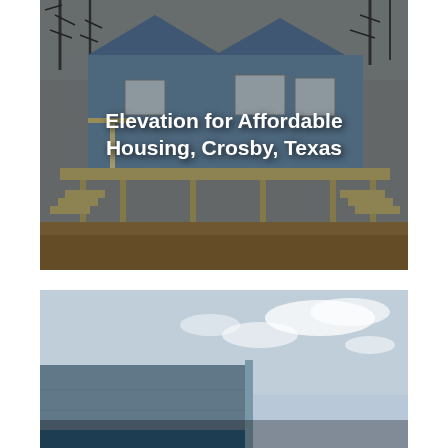[Figure (photo): Photograph of an elevated affordable housing structure in Crosby, Texas. A light blue house raised on stilts with wooden decks and staircases on each side, surrounded by muddy ground and bare trees under a grey sky.]
Elevation for Affordable Housing, Crosby, Texas
[Figure (photo): Photograph showing the corner of a modern commercial or institutional building with blue accents against a partly cloudy sky. Text partially visible at the bottom.]